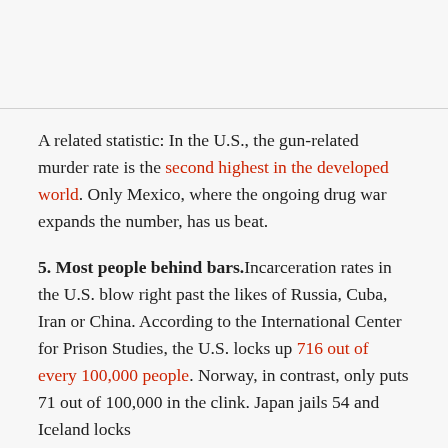A related statistic: In the U.S., the gun-related murder rate is the second highest in the developed world. Only Mexico, where the ongoing drug war expands the number, has us beat.
5. Most people behind bars. Incarceration rates in the U.S. blow right past the likes of Russia, Cuba, Iran or China. According to the International Center for Prison Studies, the U.S. locks up 716 out of every 100,000 people. Norway, in contrast, only puts 71 out of 100,000 in the clink. Japan jails 54 and Iceland locks